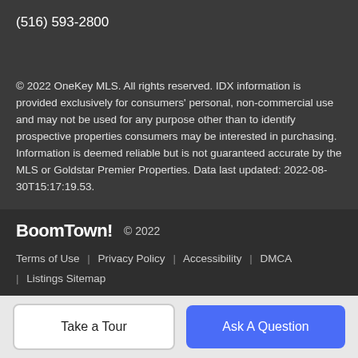(516) 593-2800
© 2022 OneKey MLS. All rights reserved. IDX information is provided exclusively for consumers' personal, non-commercial use and may not be used for any purpose other than to identify prospective properties consumers may be interested in purchasing. Information is deemed reliable but is not guaranteed accurate by the MLS or Goldstar Premier Properties. Data last updated: 2022-08-30T15:17:19.53.
BoomTown! © 2022  Terms of Use | Privacy Policy | Accessibility | DMCA | Listings Sitemap
Take a Tour
Ask A Question